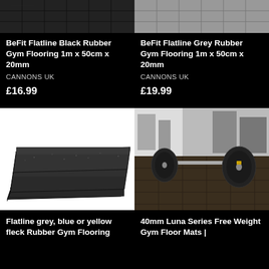[Figure (photo): Top portion of BeFit Flatline Black Rubber Gym Flooring product image - dark grey/black tile pattern]
[Figure (photo): Top portion of BeFit Flatline Grey Rubber Gym Flooring product image - lighter grey tile pattern]
BeFit Flatline Black Rubber Gym Flooring 1m x 50cm x 20mm
CANNONS UK
£16.99
BeFit Flatline Grey Rubber Gym Flooring 1m x 50cm x 20mm
CANNONS UK
£19.99
[Figure (photo): Stacked black rubber gym floor mats on white background]
[Figure (photo): Gym interior with barbell weight plate on dark rubber flooring, equipment in background]
Flatline grey, blue or yellow fleck Rubber Gym Flooring
40mm Luna Series Free Weight Gym Floor Mats |